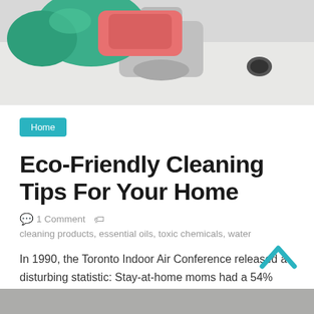[Figure (photo): Close-up photo of green rubber gloves cleaning a white sink faucet with a pink cloth/sponge]
Home
Eco-Friendly Cleaning Tips For Your Home
1 Comment   cleaning products, essential oils, toxic chemicals, water
In 1990, the Toronto Indoor Air Conference released a disturbing statistic: Stay-at-home moms had a 54% higher cancer rate than
Read more
[Figure (photo): Bottom strip of another photo partially visible at the bottom of the page]